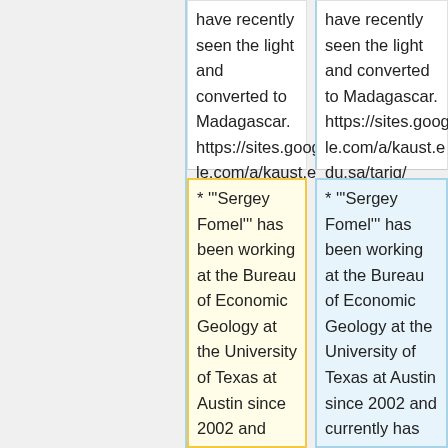have recently seen the light and converted to Madagascar. https://sites.google.com/a/kaust.edu.sa/tariq/
have recently seen the light and converted to Madagascar. https://sites.google.com/a/kaust.edu.sa/tariq/
* '''Sergey Fomel''' has been working at the Bureau of Economic Geology at the University of Texas at Austin since 2002 and currently has an Associate Professor appointment, jointly with the Department of
* '''Sergey Fomel''' has been working at the Bureau of Economic Geology at the University of Texas at Austin since 2002 and currently has an Associate Professor appointment, jointly with the Department of